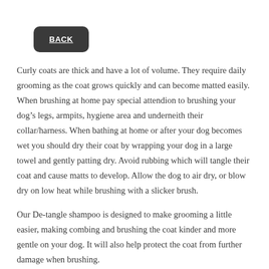BACK
Curly coats are thick and have a lot of volume. They require daily grooming as the coat grows quickly and can become matted easily. When brushing at home pay special attendion to brushing your dog’s legs, armpits, hygiene area and underneith their collar/harness. When bathing at home or after your dog becomes wet you should dry their coat by wrapping your dog in a large towel and gently patting dry. Avoid rubbing which will tangle their coat and cause matts to develop. Allow the dog to air dry, or blow dry on low heat while brushing with a slicker brush.
Our De-tangle shampoo is designed to make grooming a little easier, making combing and brushing the coat kinder and more gentle on your dog. It will also help protect the coat from further damage when brushing.